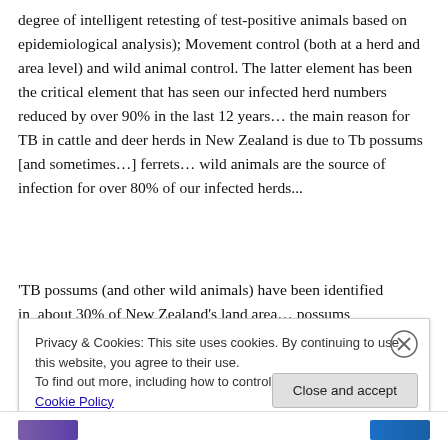degree of intelligent retesting of test-positive animals based on epidemiological analysis); Movement control (both at a herd and area level) and wild animal control. The latter element has been the critical element that has seen our infected herd numbers reduced by over 90% in the last 12 years… the main reason for TB in cattle and deer herds in New Zealand is due to Tb possums [and sometimes…] ferrets… wild animals are the source of infection for over 80% of our infected herds...
'TB possums (and other wild animals) have been identified in about 30% of New Zealand's land area… possums
Privacy & Cookies: This site uses cookies. By continuing to use this website, you agree to their use.
To find out more, including how to control cookies, see here: Cookie Policy